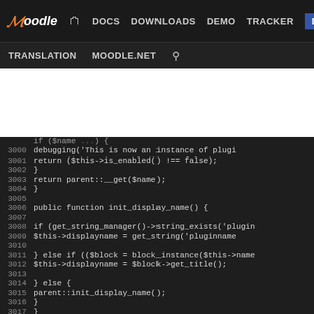moodle DOCS DOWNLOADS DEMO TRACKER DEV TRANSLATION MOODLE.NET
[Figure (screenshot): Moodle developer documentation website navigation bar with dark background, showing links: DOCS, DOWNLOADS, DEMO, TRACKER, DEV (highlighted in blue), TRANSLATION, MOODLE.NET, and search icon]
Code viewer showing PHP source lines 2999-3025 of a Moodle plugin manager class, including functions init_display_name() and load_db_version()